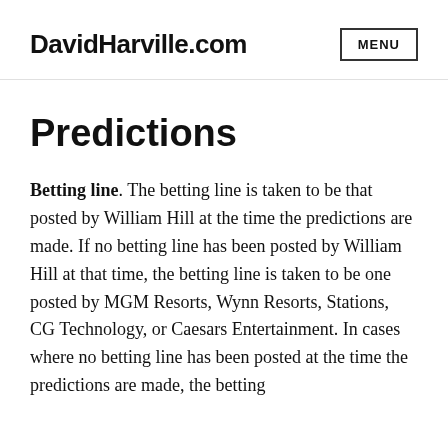DavidHarville.com  MENU
Predictions
Betting line.  The betting line is taken to be that posted by William Hill at the time the predictions are made.  If no betting line has been posted by William Hill at that time, the betting line is taken to be one posted by MGM Resorts, Wynn Resorts, Stations, CG Technology, or Caesars Entertainment.  In cases where no betting line has been posted at the time the predictions are made, the betting